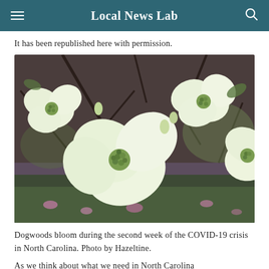Local News Lab
It has been republished here with permission.
[Figure (photo): Close-up photograph of white dogwood flowers blooming on branches against a blurred background of trees and pink flowers on the ground.]
Dogwoods bloom during the second week of the COVID-19 crisis in North Carolina. Photo by Hazeltine.
As we think about what we need in North Carolina